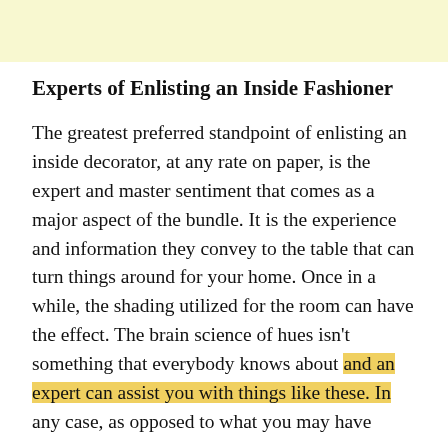Experts of Enlisting an Inside Fashioner
The greatest preferred standpoint of enlisting an inside decorator, at any rate on paper, is the expert and master sentiment that comes as a major aspect of the bundle. It is the experience and information they convey to the table that can turn things around for your home. Once in a while, the shading utilized for the room can have the effect. The brain science of hues isn't something that everybody knows about and an expert can assist you with things like these. In any case, as opposed to what you may have